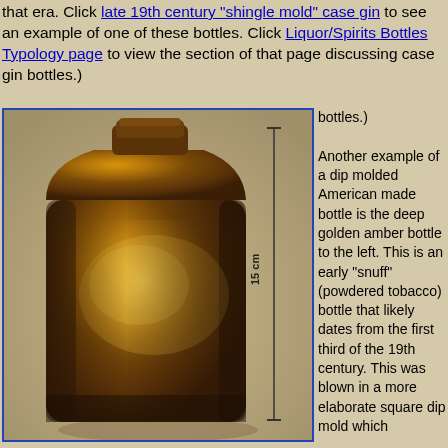that era.  Click late 19th century "shingle mold" case gin to see an example of one of these bottles.  Click Liquor/Spirits Bottles Typology page to view the section of that page discussing case gin bottles.)
[Figure (photo): A deep golden amber square dip molded snuff bottle (powdered tobacco bottle) from the first third of the 19th century, shown with a vertical ruler/scale indicator on the right side. The bottle has a rounded shoulder and short neck, with visible mold seams and surface texture.]
Another example of a dip molded American made bottle is the deep golden amber bottle to the left.  This is an early "snuff" (powdered tobacco) bottle that likely dates from the first third of the 19th century.  This was blown in a more elaborate square dip mold which